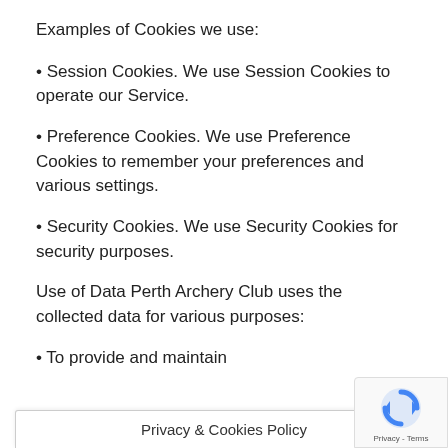Examples of Cookies we use:
• Session Cookies. We use Session Cookies to operate our Service.
• Preference Cookies. We use Preference Cookies to remember your preferences and various settings.
• Security Cookies. We use Security Cookies for security purposes.
Use of Data Perth Archery Club uses the collected data for various purposes:
• To provide and maintain
Privacy & Cookies Policy